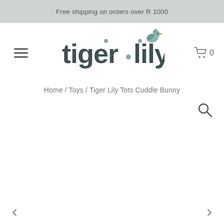Free shipping on orders over R 1000
[Figure (logo): Tiger Lily logo with stylized text and bird illustration]
Home / Toys / Tiger Lily Tots Cuddle Bunny
[Figure (other): Search icon (magnifying glass)]
[Figure (other): Left navigation arrow (<)]
[Figure (other): Right navigation arrow (>)]